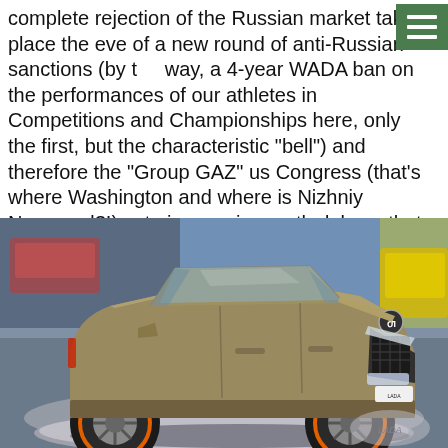complete rejection of the Russian market takes place the eve of a new round of anti-Russian sanctions (by the way, a 4-year WADA ban on the performances of our athletes in Competitions and Championships here, only the first, but the characteristic "bell") and therefore the "Group GAZ" us Congress (that's where Washington and where is Nizhniy Novgorod?!) yet given a six-month delay – that American investors had to withdraw their capital.
[Figure (photo): A bronze/gold Lada SUV concept car on display at an auto show, shown on a circular display platform with other cars in the background.]